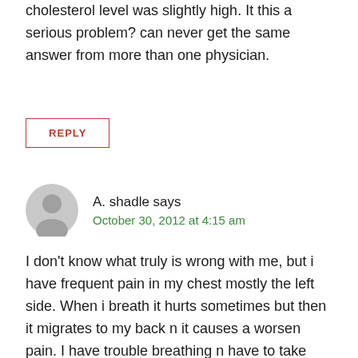cholesterol level was slightly high. It this a serious problem? can never get the same answer from more than one physician.
REPLY
A. shadle says
October 30, 2012 at 4:15 am
I don't know what truly is wrong with me, but i have frequent pain in my chest mostly the left side. When i breath it hurts sometimes but then it migrates to my back n it causes a worsen pain. I have trouble breathing n have to take deep breaths just to get some oxygen sometimes. I usually ignore it but then it'll come back worse n I'll get pale, light headed n weak n don't feel like